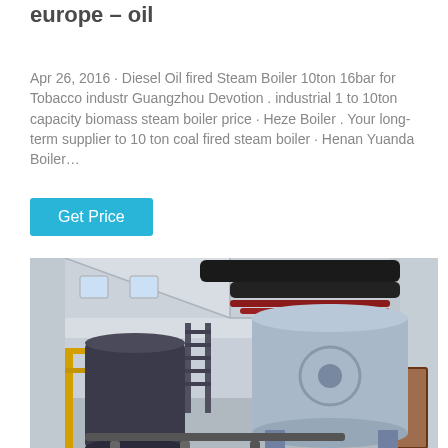europe – oil
Apr 26, 2016 · Diesel Oil fired Steam Boiler 10ton 16bar for Tobacco industr Guangzhou Devotion . industrial 1 to 10ton capacity biomass steam boiler price · Heze Boiler . Your long-term supplier to 10 ton coal fired steam boiler · Henan Yuanda Boiler…
Get Price
[Figure (photo): Industrial boiler room with large cylindrical steam boilers (light blue), yellow support structures, black pipes overhead, and red pipes running along the top. WhatsApp overlay in the bottom-left corner.]